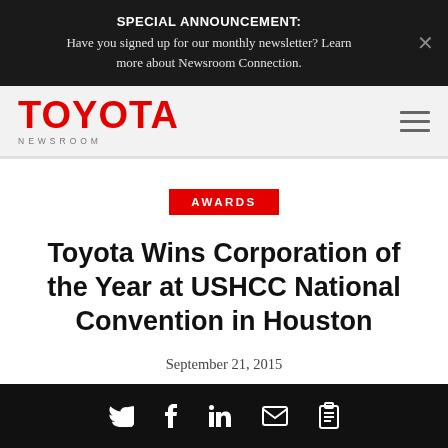SPECIAL ANNOUNCEMENT: Have you signed up for our monthly newsletter? Learn more about Newsroom Connection.
[Figure (logo): Toyota Newsroom logo — TOYOTA in red bold text, NEWSROOM in small grey spaced caps beneath]
AWARDS
Toyota Wins Corporation of the Year at USHCC National Convention in Houston
September 21, 2015
Social share icons: Twitter, Facebook, LinkedIn, Email, Copy link